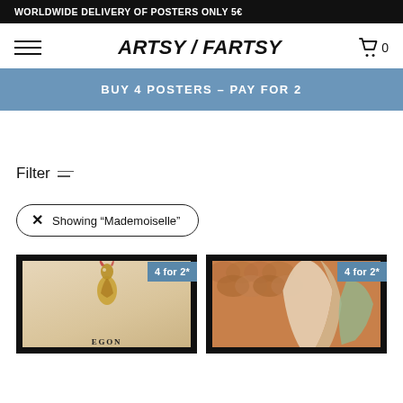WORLDWIDE DELIVERY OF POSTERS ONLY 5€
ARTSY / FARTSY
BUY 4 POSTERS – PAY FOR 2
Filter
Showing "Mademoiselle"
[Figure (photo): Product card 1 with black frame and '4 for 2*' badge, showing a rooster illustration with text 'EGON' at the bottom]
[Figure (photo): Product card 2 with black frame and '4 for 2*' badge, showing an abstract art print with orange, green and cream tones]